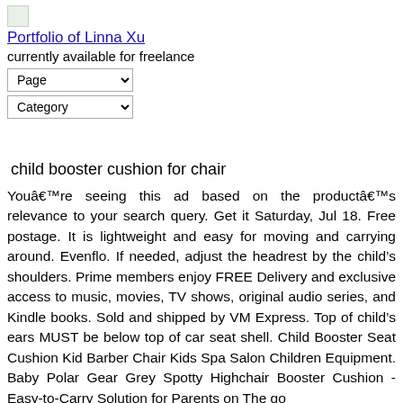[Figure (logo): Small logo image thumbnail]
Portfolio of Linna Xu
currently available for freelance
Page (dropdown)
Category (dropdown)
child booster cushion for chair
Youâre seeing this ad based on the productâs relevance to your search query. Get it Saturday, Jul 18. Free postage. It is lightweight and easy for moving and carrying around. Evenflo. If needed, adjust the headrest by the child’s shoulders. Prime members enjoy FREE Delivery and exclusive access to music, movies, TV shows, original audio series, and Kindle books. Sold and shipped by VM Express. Top of child’s ears MUST be below top of car seat shell. Child Booster Seat Cushion Kid Barber Chair Kids Spa Salon Children Equipment. Baby Polar Gear Grey Spotty Highchair Booster Cushion - Easy-to-Carry Solution for Parents on The go